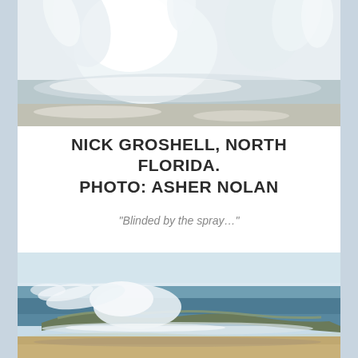[Figure (photo): Close-up of crashing ocean wave with white spray, shot from low angle against bright sky]
NICK GROSHELL, NORTH FLORIDA. PHOTO: ASHER NOLAN
“Blinded by the spray…”
[Figure (photo): Wide shot of a beach scene showing a breaking wave with white spray blowing off the crest, blue ocean and sky in background, sandy shore in foreground]